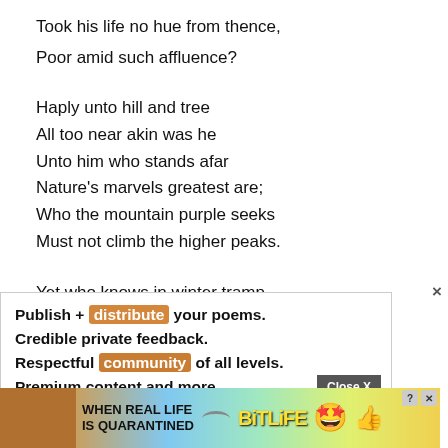Took his life no hue from thence,
Poor amid such affluence?

Haply unto hill and tree
All too near akin was he
Unto him who stands afar
Nature's marvels greatest are;
Who the mountain purple seeks
Must not climb the higher peaks.

Yet who knows in winter tramp,
Or the midnight of the camp,
What a radiance of...
[Figure (other): Advertisement overlay with text: Publish + distribute your poems. Credible private feedback. Respectful community of all levels. Premium content and more. With Close X button.]
[Figure (other): Banner advertisement for BitLife game: WHEN REAL LIFE IS QUARANTINED with colorful gradient background and emoji icons.]